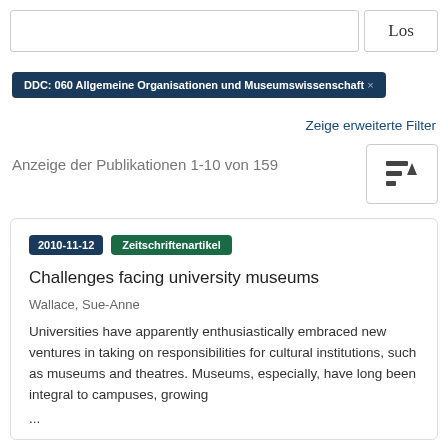Los
DDC: 060 Allgemeine Organisationen und Museumswissenschaft ×
Zeige erweiterte Filter
Anzeige der Publikationen 1-10 von 159
2010-11-12 Zeitschriftenartikel
Challenges facing university museums
Wallace, Sue-Anne
Universities have apparently enthusiastically embraced new ventures in taking on responsibilities for cultural institutions, such as museums and theatres. Museums, especially, have long been integral to campuses, growing
...